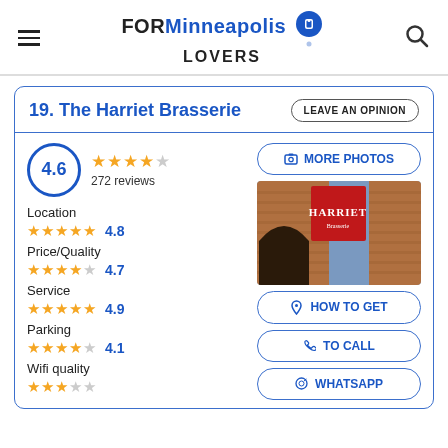FOR Minneapolis LOVERS
19. The Harriet Brasserie
LEAVE AN OPINION
4.6
272 reviews
MORE PHOTOS
Location 4.8
Price/Quality 4.7
[Figure (photo): Exterior of The Harriet Brasserie showing a brick building entrance with a red hanging sign reading HARRIET]
Service 4.9
Parking 4.1
HOW TO GET
TO CALL
Wifi quality
WHATSAPP